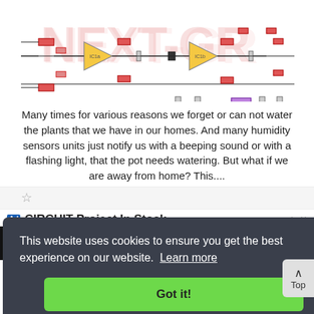[Figure (circuit-diagram): Electronic circuit diagram with op-amps, capacitors, resistors, transistors, and ICs shown in a schematic layout with colored components on white background. Watermark text 'NEXT-GR' visible in background.]
Many times for various reasons we forget or can not water the plants that we have in our homes. And many humidity sensors units just notify us with a beeping sound or with a flashing light, that the pot needs watering. But what if we are away from home? This....
[Figure (screenshot): Cookie consent overlay on a webpage showing text 'This website uses cookies to ensure you get the best experience on our website. Learn more' with a green 'Got it!' button. Behind it is an advertisement bar showing 'CIRCUIT Project In Stock' with Ad label. A 'Top' navigation button visible at right.]